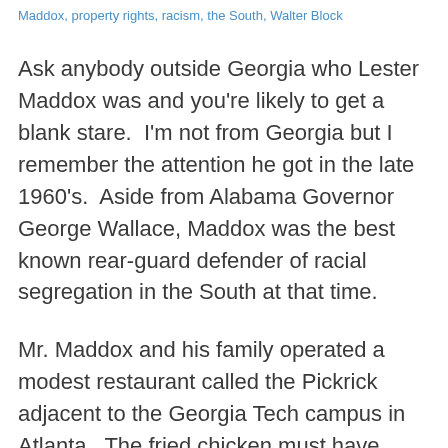Maddox, property rights, racism, the South, Walter Block
Ask anybody outside Georgia who Lester Maddox was and you're likely to get a blank stare.  I'm not from Georgia but I remember the attention he got in the late 1960's.  Aside from Alabama Governor George Wallace, Maddox was the best known rear-guard defender of racial segregation in the South at that time.
Mr. Maddox and his family operated a modest restaurant called the Pickrick adjacent to the Georgia Tech campus in Atlanta.  The fried chicken must have been good, because he prospered.  He gradually became interested in politics and began to